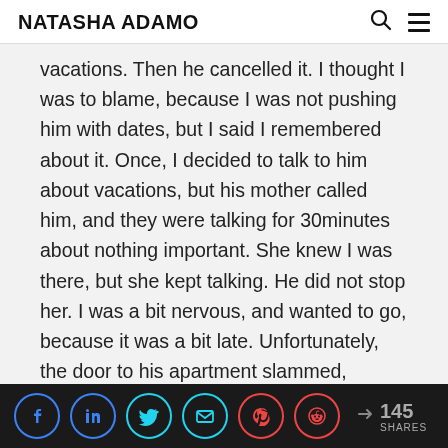NATASHA ADAMO
vacations. Then he cancelled it. I thought I was to blame, because I was not pushing him with dates, but I said I remembered about it. Once, I decided to talk to him about vacations, but his mother called him, and they were talking for 30minutes about nothing important. She knew I was there, but she kept talking. He did not stop her. I was a bit nervous, and wanted to go, because it was a bit late. Unfortunately, the door to his apartment slammed, because of the wind (maybe he thought it was on
145 SHARES